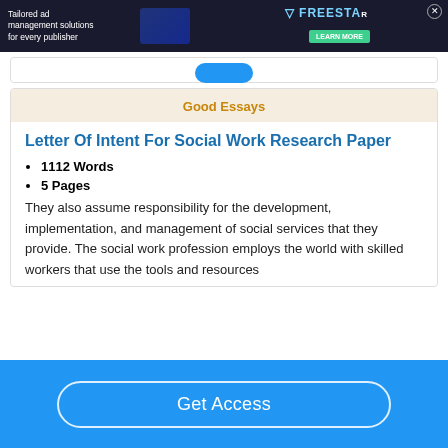[Figure (screenshot): Dark advertisement banner for Freestar ad management solutions]
Good Essays
Letter Of Intent For Social Work Research Paper
1112 Words
5 Pages
They also assume responsibility for the development, implementation, and management of social services that they provide. The social work profession employs the world with skilled workers that use the tools and resources
Get Access